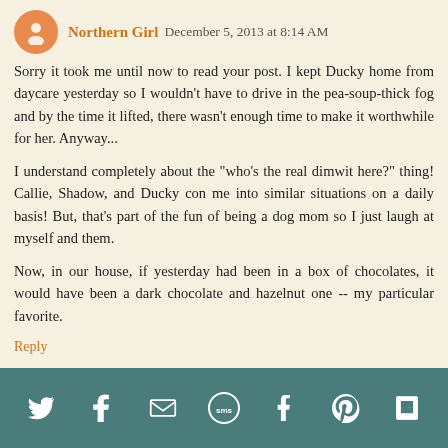Northern Girl  December 5, 2013 at 8:14 AM
Sorry it took me until now to read your post. I kept Ducky home from daycare yesterday so I wouldn't have to drive in the pea-soup-thick fog and by the time it lifted, there wasn't enough time to make it worthwhile for her. Anyway...
I understand completely about the "who's the real dimwit here?" thing! Callie, Shadow, and Ducky con me into similar situations on a daily basis! But, that's part of the fun of being a dog mom so I just laugh at myself and them.
Now, in our house, if yesterday had been in a box of chocolates, it would have been a dark chocolate and hazelnut one -- my particular favorite.
Reply
▼  Replies
Elizabeth Keene  December 5, 2013 at 8:24 AM
Share icons: Twitter, Facebook, Email, SMS, Tumblr, Pinterest, Flipboard